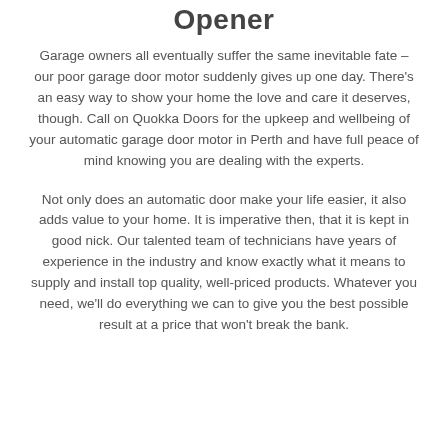Opener
Garage owners all eventually suffer the same inevitable fate – our poor garage door motor suddenly gives up one day. There's an easy way to show your home the love and care it deserves, though. Call on Quokka Doors for the upkeep and wellbeing of your automatic garage door motor in Perth and have full peace of mind knowing you are dealing with the experts.
Not only does an automatic door make your life easier, it also adds value to your home. It is imperative then, that it is kept in good nick. Our talented team of technicians have years of experience in the industry and know exactly what it means to supply and install top quality, well-priced products. Whatever you need, we'll do everything we can to give you the best possible result at a price that won't break the bank.